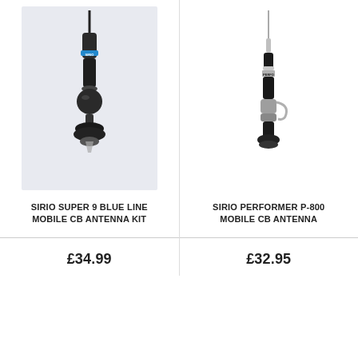[Figure (photo): Sirio Super 9 Blue Line Mobile CB Antenna Kit - black antenna with SIRIO label on light blue/grey background]
SIRIO SUPER 9 BLUE LINE MOBILE CB ANTENNA KIT
£34.99
[Figure (photo): Sirio Performer P-800 Mobile CB Antenna - black and chrome antenna with PERFO label on white background]
SIRIO PERFORMER P-800 MOBILE CB ANTENNA
£32.95